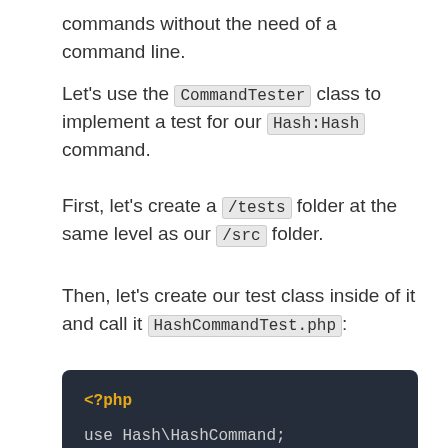commands without the need of a command line.
Let's use the CommandTester class to implement a test for our Hash:Hash command.
First, let's create a /tests folder at the same level as our /src folder.
Then, let's create our test class inside of it and call it HashCommandTest.php:
[Figure (screenshot): PHP code block with dark background showing: <?php and use Hash\HashCommand;]